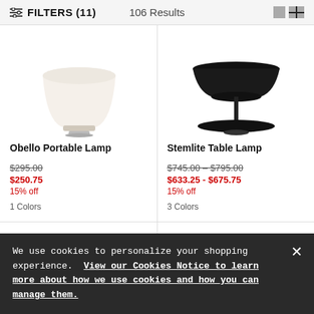FILTERS (11)   106 Results
[Figure (illustration): Obello Portable Lamp product image - cream/beige cylindrical lamp shade on small base, viewed from slightly above]
Obello Portable Lamp
$295.00
$250.75
15% off
1 Colors
[Figure (illustration): Stemlite Table Lamp product image - black mushroom/disc-shaped shade on tall slim stem with wide flat base]
Stemlite Table Lamp
$745.00 – $795.00
$633.25 - $675.75
15% off
3 Colors
We use cookies to personalize your shopping experience. View our Cookies Notice to learn more about how we use cookies and how you can manage them.